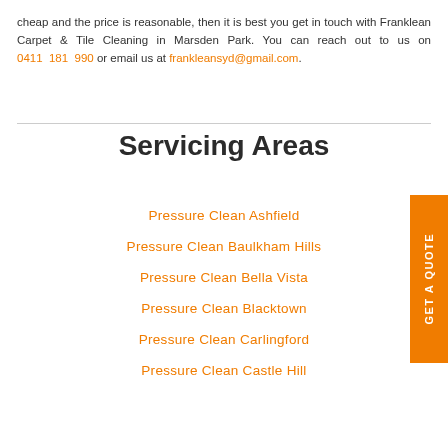cheap and the price is reasonable, then it is best you get in touch with Franklean Carpet & Tile Cleaning in Marsden Park. You can reach out to us on 0411 181 990 or email us at frankleansyd@gmail.com.
Servicing Areas
Pressure Clean Ashfield
Pressure Clean Baulkham Hills
Pressure Clean Bella Vista
Pressure Clean Blacktown
Pressure Clean Carlingford
Pressure Clean Castle Hill